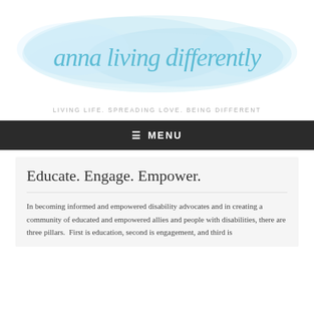[Figure (logo): Watercolor-style logo reading 'anna living differently' in a light blue cursive script on a watercolor wash background]
LIVING LIFE. SPREADING LOVE. BEING DIFFERENT
≡ MENU
Educate. Engage. Empower.
In becoming informed and empowered disability advocates and in creating a community of educated and empowered allies and people with disabilities, there are three pillars.  First is education, second is engagement, and third is